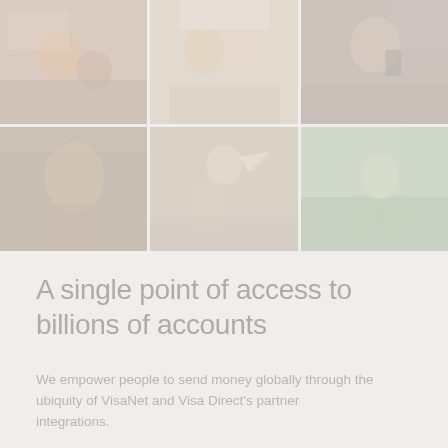[Figure (photo): A 2x3 grid of six muted/faded photographs showing diverse people: a child in a store, two women in hijabs smiling, a woman using a smartphone, a bearded man, a person in white tossing a paper airplane, and a person with a bicycle outdoors.]
A single point of access to billions of accounts
We empower people to send money globally through the ubiquity of VisaNet and Visa Direct's partner integrations.